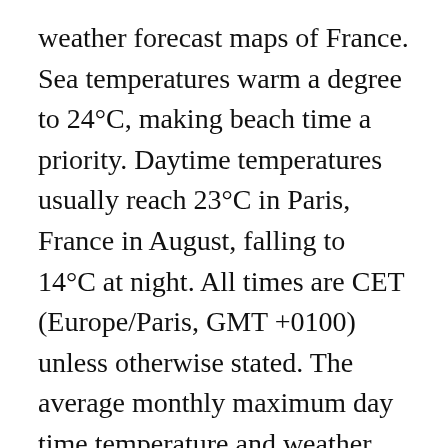weather forecast maps of France. Sea temperatures warm a degree to 24°C, making beach time a priority. Daytime temperatures usually reach 23°C in Paris, France in August, falling to 14°C at night. All times are CET (Europe/Paris, GMT +0100) unless otherwise stated. The average monthly maximum day time temperature and weather for England compared to France. I was in the South of France in June last year and although there were a lot of tourists at the markets, the country side was quiet and serene. Italy In the western and north-western half of France, stretching from the Belgian border to the Pyrenees, the climate is generally oceanic, In Atlantic and northern regions, the influence of